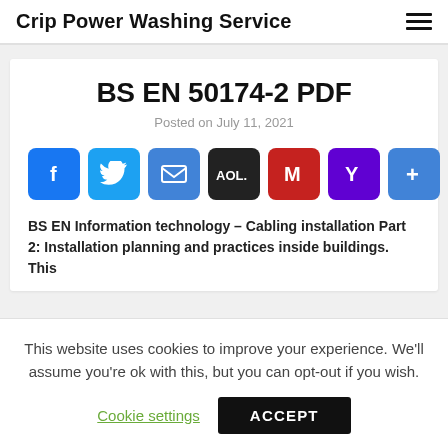Crip Power Washing Service
BS EN 50174-2 PDF
Posted on July 11, 2021
[Figure (infographic): Row of social share buttons: Facebook (blue, f icon), Twitter (blue, bird icon), Email (blue, envelope icon), AOL (black, AOL. text), Gmail (red, M icon), Yahoo (purple, Y icon), More/Plus (blue, + icon)]
BS EN Information technology – Cabling installation Part 2: Installation planning and practices inside buildings. This
This website uses cookies to improve your experience. We'll assume you're ok with this, but you can opt-out if you wish.
Cookie settings   ACCEPT